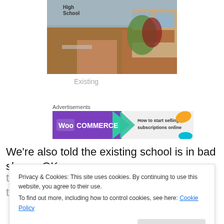[Figure (photo): Exterior photo of a high school brick building with trees in the background and blue sky]
Existing
Advertisements
[Figure (other): WooCommerce advertisement banner: 'How to start selling subscriptions online']
We're also told the existing school is in bad shape. OK,
there are some problems, but I've been there, it's not
Privacy & Cookies: This site uses cookies. By continuing to use this website, you agree to their use.
To find out more, including how to control cookies, see here: Cookie Policy